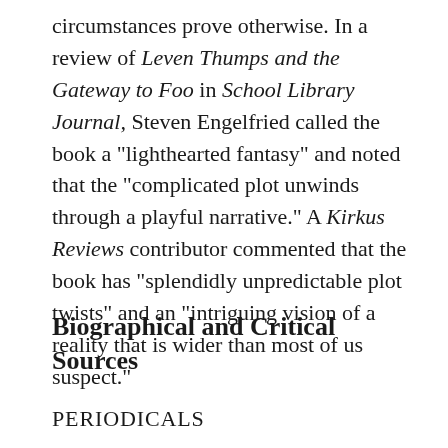circumstances prove otherwise. In a review of Leven Thumps and the Gateway to Foo in School Library Journal, Steven Engelfried called the book a "lighthearted fantasy" and noted that the "complicated plot unwinds through a playful narrative." A Kirkus Reviews contributor commented that the book has "splendidly unpredictable plot twists" and an "intriguing vision of a reality that is wider than most of us suspect."
Biographical and Critical Sources
PERIODICALS